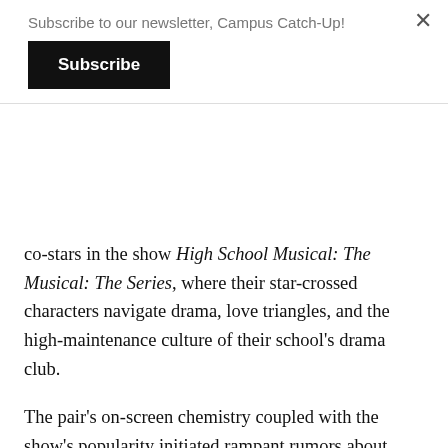Subscribe to our newsletter, Campus Catch-Up!
Subscribe
co-stars in the show High School Musical: The Musical: The Series, where their star-crossed characters navigate drama, love triangles, and the high-maintenance culture of their school's drama club.
The pair's on-screen chemistry coupled with the show's popularity initiated rampant rumors about their relationship. Fans questioned whether the messy breakup and ex-boyfriend featured in “Drivers License”were symbolic, if not directly suggestive, of Rodrigo and Basset’s enigmatic relationship.
In Sour, Rodrigo’s stylistic pattern is clear—in the louder, fast-paced songs, she curses the tribulations of growing up and the torment of unrequited love.
Rodrigo credits much of her musical inspiration to Taylor Swift,